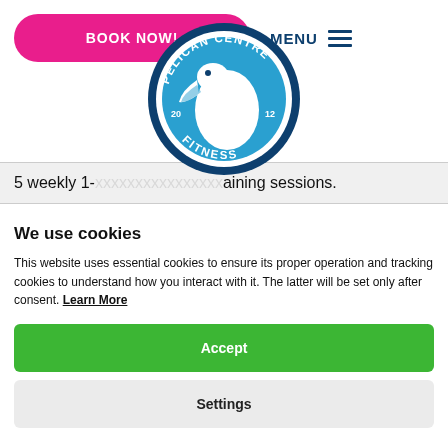BOOK NOW! MENU
[Figure (logo): Pelican Centre Fitness circular logo with pelican bird illustration, dark blue ring with text 'PELICAN CENTRE' and 'FITNESS', established 2012]
5 weekly 1-... training sessions.
We use cookies
This website uses essential cookies to ensure its proper operation and tracking cookies to understand how you interact with it. The latter will be set only after consent. Learn More
Accept
Settings